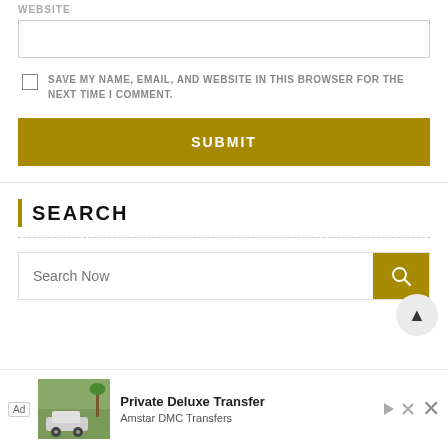WEBSITE
SAVE MY NAME, EMAIL, AND WEBSITE IN THIS BROWSER FOR THE NEXT TIME I COMMENT.
SUBMIT
SEARCH
Search Now
[Figure (screenshot): Ad banner for Private Deluxe Transfer by Amstar DMC Transfers, showing a vehicle photo]
Private Deluxe Transfer — Amstar DMC Transfers